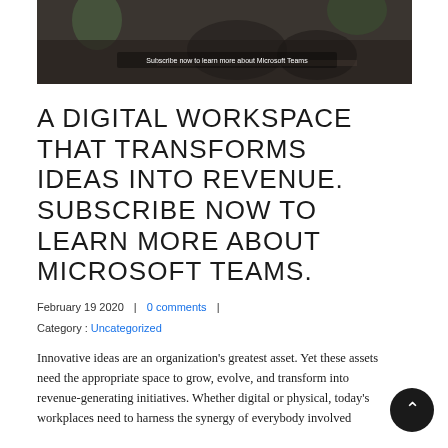[Figure (photo): Dark photograph of people in an office/lounge setting with plants. Text overlay reads 'Subscribe now to learn more about Microsoft Teams']
A DIGITAL WORKSPACE THAT TRANSFORMS IDEAS INTO REVENUE. SUBSCRIBE NOW TO LEARN MORE ABOUT MICROSOFT TEAMS.
February 19 2020  |  0 comments  |  Category : Uncategorized
Innovative ideas are an organization's greatest asset. Yet these assets need the appropriate space to grow, evolve, and transform into revenue-generating initiatives. Whether digital or physical, today's workplaces need to harness the synergy of everybody involved